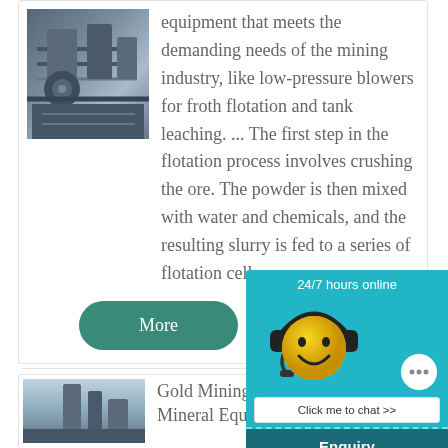[Figure (photo): Industrial mining equipment, showing heavy machinery with pipes and structural components in a factory or processing plant setting.]
equipment that meets the demanding needs of the mining industry, like low-pressure blowers for froth flotation and tank leaching. ... The first step in the flotation process involves crushing the ore. The powder is then mixed with water and chemicals, and the resulting slurry is fed to a series of flotation cells. ...
More
[Figure (infographic): 24/7 hours online chat widget showing a smiley face with headphones, a speech bubble with ellipsis, and a 'Click me to chat >>' button, with Enquiry section and email superbrian707@gm...]
[Figure (photo): Gold mining processing plant or industrial facility with equipment against a light sky background.]
Gold Mining Pr... Development – Mineral Equ...